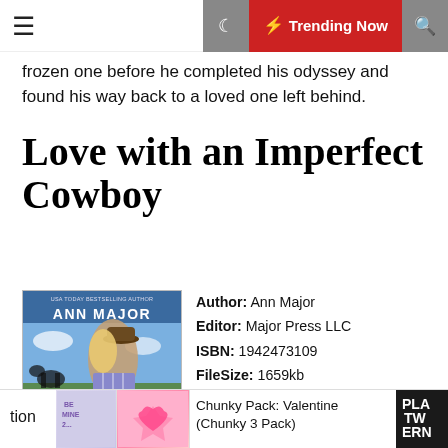☰  🌙  ⚡ Trending Now  🔍
frozen one before he completed his odyssey and found his way back to a loved one left behind.
Love with an Imperfect Cowboy
[Figure (photo): Book cover of 'Love with an Imperfect Cowboy' by Ann Major showing a couple in a romantic embrace with a cowboy hat, against a rural background. USA TODAY Bestselling Author text at top.]
Author: Ann Major
Editor: Major Press LLC
ISBN: 1942473109
FileSize: 1659kb
File Format: Pdf
Read: 1659
READ BOOK
tion
Chunky Pack: Valentine (Chunky 3 Pack)